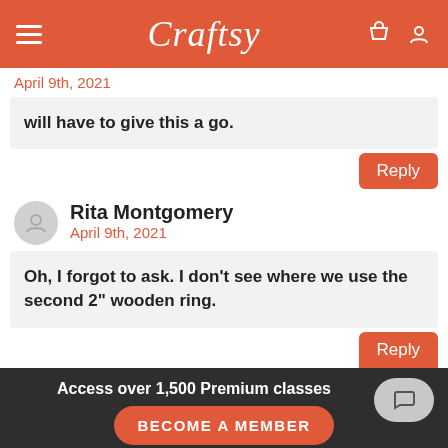Craftsy
April 9th, 2021
will have to give this a go.
Reply
Rita Montgomery
April 9th, 2021
Oh, I forgot to ask. I don't see where we use the second 2" wooden ring.
Reply
Access over 1,500 Premium classes
BECOME A MEMBER
It states one wooden ring 2 inches in size, not 2